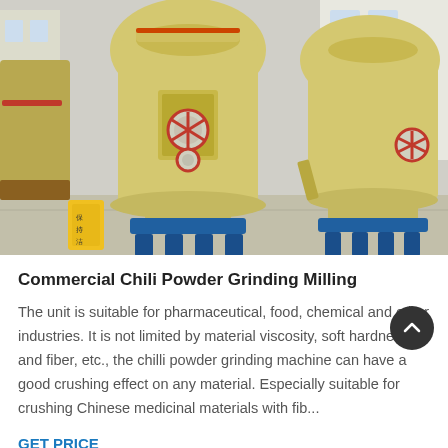[Figure (photo): Photograph of large industrial yellow grinding/milling machines with blue metal bases, red valve handles, and red circular safety symbols, positioned outdoors on a concrete surface. A yellow warning sign is visible at lower left.]
Commercial Chili Powder Grinding Milling
The unit is suitable for pharmaceutical, food, chemical and other industries. It is not limited by material viscosity, softness, hardness and fiber, etc., the chilli powder grinding machine can have a good crushing effect on any material. Especially suitable for crushing Chinese medicinal materials with fib...
GET PRICE